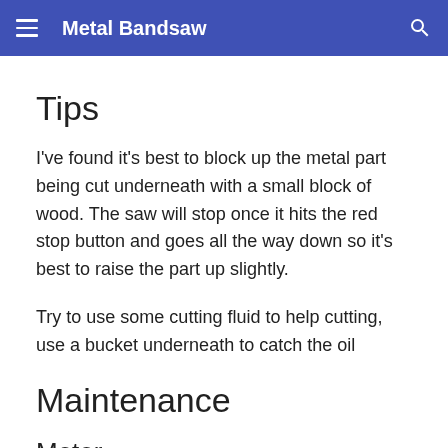Metal Bandsaw
Tips
I've found it's best to block up the metal part being cut underneath with a small block of wood. The saw will stop once it hits the red stop button and goes all the way down so it's best to raise the part up slightly.
Try to use some cutting fluid to help cutting, use a bucket underneath to catch the oil
Maintenance
Motor